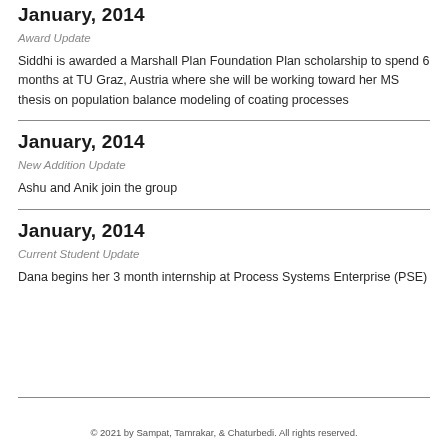January, 2014
Award Update
Siddhi is awarded a Marshall Plan Foundation Plan scholarship to spend 6 months at TU Graz, Austria where she will be working toward her MS thesis on population balance modeling of coating processes
January, 2014
New Addition Update
Ashu and Anik join the group
January, 2014
Current Student Update
Dana begins her 3 month internship at Process Systems Enterprise (PSE)
© 2021 by Sampat, Tamrakar, & Chaturbedi. All rights reserved.